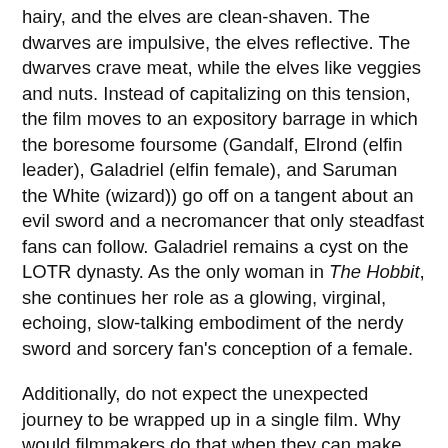hairy, and the elves are clean-shaven. The dwarves are impulsive, the elves reflective. The dwarves crave meat, while the elves like veggies and nuts. Instead of capitalizing on this tension, the film moves to an expository barrage in which the boresome foursome (Gandalf, Elrond (elfin leader), Galadriel (elfin female), and Saruman the White (wizard)) go off on a tangent about an evil sword and a necromancer that only steadfast fans can follow. Galadriel remains a cyst on the LOTR dynasty. As the only woman in The Hobbit, she continues her role as a glowing, virginal, echoing, slow-talking embodiment of the nerdy sword and sorcery fan's conception of a female.
Additionally, do not expect the unexpected journey to be wrapped up in a single film. Why would filmmakers do that when they can make so much more money by stretching The Hobbit into three films?
The Hobbit redeems itself by carrying through the thematic issues that the LOTR collection so breathtakingly expresses: loyalty, social outreach, the triumph of good over evil. Several of the speeches are particularly well-done. For instance, a leading mission by hero Bilbo for his...